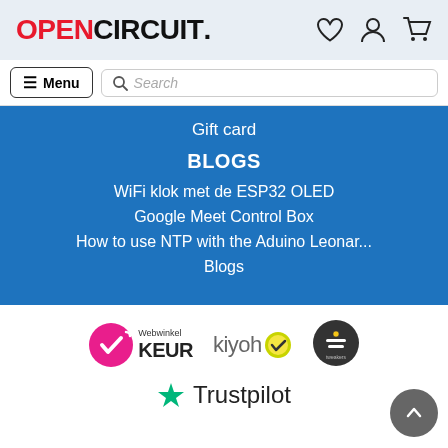OPENCIRCUIT
Menu | Search
Gift card
BLOGS
WiFi klok met de ESP32 OLED
Google Meet Control Box
How to use NTP with the Aduino Leonar...
Blogs
[Figure (logo): Webwinkel KEUR certification logo with pink circle checkmark]
[Figure (logo): kiyoh review platform logo with yellow-green checkmark]
[Figure (logo): Tweakers logo - dark circular badge]
[Figure (logo): Trustpilot logo with green star]